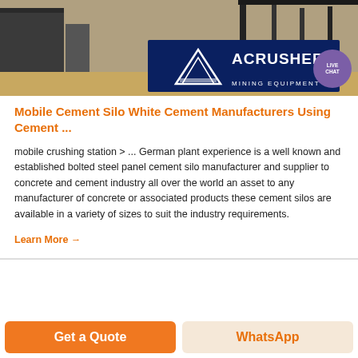[Figure (photo): Photo of industrial equipment (cement silo/mobile crushing station) with ACRUSHER Mining Equipment logo overlay and Live Chat bubble]
Mobile Cement Silo White Cement Manufacturers Using Cement ...
mobile crushing station > ... German plant experience is a well known and established bolted steel panel cement silo manufacturer and supplier to concrete and cement industry all over the world an asset to any manufacturer of concrete or associated products these cement silos are available in a variety of sizes to suit the industry requirements.
Learn More →
Get a Quote
WhatsApp